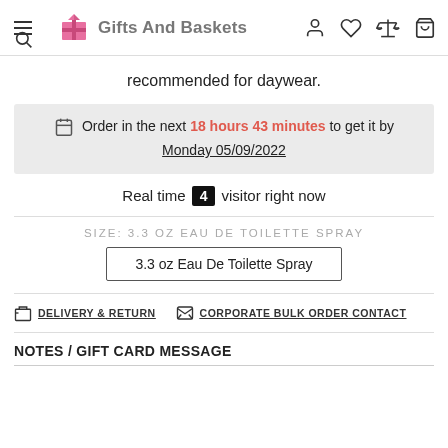Gifts And Baskets
recommended for daywear.
Order in the next 18 hours 43 minutes to get it by Monday 05/09/2022
Real time 4 visitor right now
SIZE: 3.3 OZ EAU DE TOILETTE SPRAY
3.3 oz Eau De Toilette Spray
DELIVERY & RETURN   CORPORATE BULK ORDER CONTACT
NOTES / GIFT CARD MESSAGE